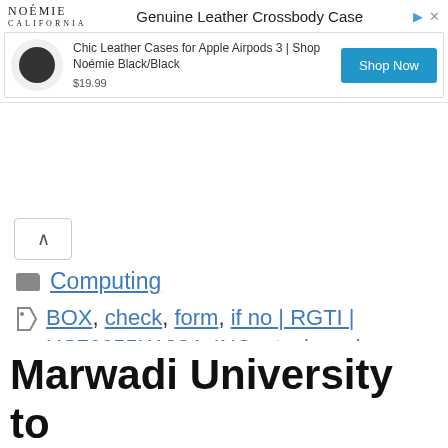[Figure (screenshot): Advertisement banner for Noémie Genuine Leather Crossbody Case showing a leather AirPods case product with price $19.99 and a Shop Now button]
Computing
BOX, check, form, if no | RGTI | US76655K1034, INC. stock exchange, information, NEWS, ownership, press release, Rigetti Computing, stock market today, submission, this
Leave a comment
Marwadi University to